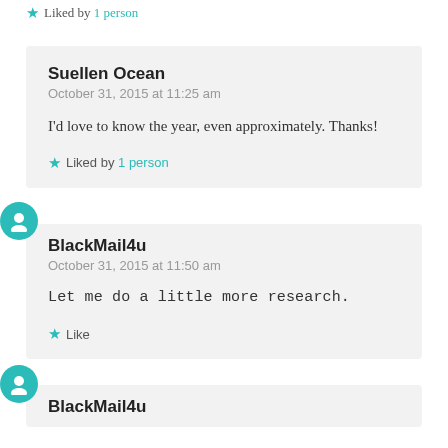Liked by 1 person
Suellen Ocean
October 31, 2015 at 11:25 am
I'd love to know the year, even approximately. Thanks!
Liked by 1 person
BlackMail4u
October 31, 2015 at 11:50 am
Let me do a little more research.
Like
BlackMail4u